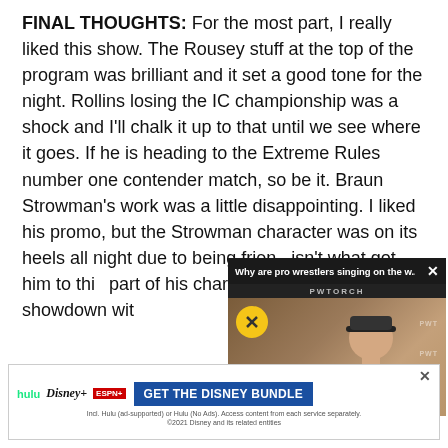FINAL THOUGHTS: For the most part, I really liked this show. The Rousey stuff at the top of the program was brilliant and it set a good tone for the night. Rollins losing the IC championship was a shock and I'll chalk it up to that until we see where it goes. If he is heading to the Extreme Rules number one contender match, so be it. Braun Strowman's work was a little disappointing. I liked his promo, but the Strowman character was on its heels all night due to being frien[...] isn't what got him to thi[...] part of his character ne[...] the final showdown wit[...]
[Figure (screenshot): Video popup overlay titled 'Why are pro wrestlers singing on the w...' from PWTORCH, showing a man in a black cap with a muted video icon (yellow circle). Disney Bundle advertisement banner at bottom.]
NOW CHECK OUT LA[...]
WWE R[...] the live[...] Reigns vs. Mahal, and more.